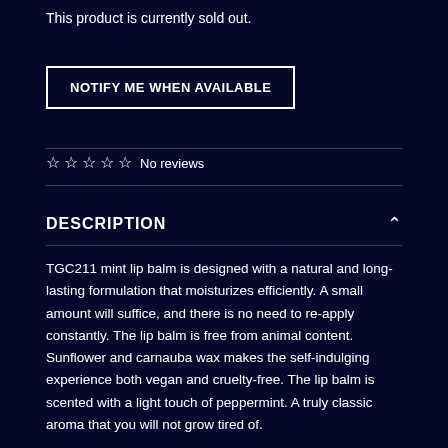This product is currently sold out.
NOTIFY ME WHEN AVAILABLE
☆ ☆ ☆ ☆ ☆ No reviews
DESCRIPTION
TGC211 mint lip balm is designed with a natural and long-lasting formulation that moisturizes efficiently. A small amount will suffice, and there is no need to re-apply constantly. The lip balm is free from animal content. Sunflower and carnauba wax makes the self-indulging experience both vegan and cruelty-free. The lip balm is scented with a light touch of peppermint. A truly classic aroma that you will not grow tired of.